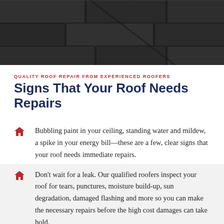[Figure (photo): Close-up photo of dark asphalt roof shingles with visible texture and seams between shingles.]
QUALITY ROOF REPAIR FROM EXPERIENCED ROOFERS
Signs That Your Roof Needs Repairs
Bubbling paint in your ceiling, standing water and mildew, a spike in your energy bill—these are a few, clear signs that your roof needs immediate repairs.
Don't wait for a leak. Our qualified roofers inspect your roof for tears, punctures, moisture build-up, sun degradation, damaged flashing and more so you can make the necessary repairs before the high cost damages can take hold.